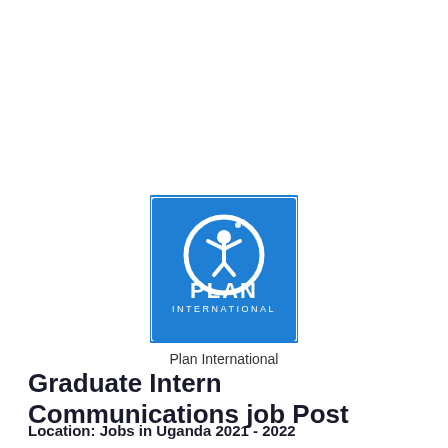[Figure (logo): Plan International logo — blue square background with white circular logo containing a figure of a child with arms raised, and text PLAN INTERNATIONAL in white below]
Plan International
Graduate Intern Communications job Post
Location:  Jobs in Uganda 2021 - 2022